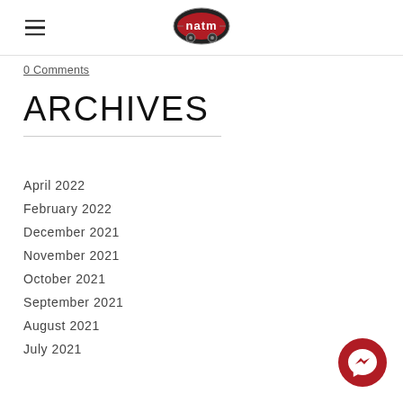NATM logo and navigation
0 Comments
ARCHIVES
April 2022
February 2022
December 2021
November 2021
October 2021
September 2021
August 2021
July 2021
[Figure (logo): Facebook Messenger button]